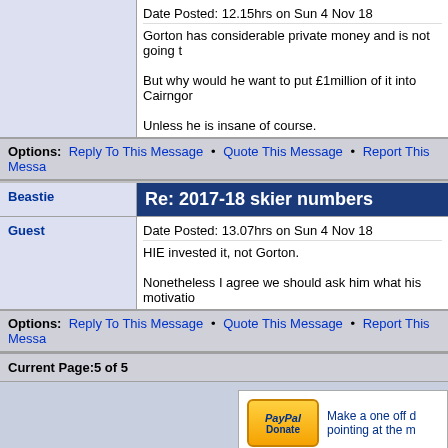Date Posted: 12.15hrs on Sun 4 Nov 18
Gorton has considerable private money and is not going t[o...]
But why would he want to put £1million of it into Cairngor[m...]
Unless he is insane of course.
Options: Reply To This Message • Quote This Message • Report This Messa[ge]
Re: 2017-18 skier numbers
Date Posted: 13.07hrs on Sun 4 Nov 18
HIE invested it, not Gorton.
Nonetheless I agree we should ask him what his motivatio[n...]
Options: Reply To This Message • Quote This Message • Report This Messa[ge]
Current Page:5 of 5
[Figure (logo): PayPal Donate button with text: Make a one off donation by pointing at the m[ouse]]
Goto: Forum List • Message List • Search
Your Name: [input field]
Your Email: [input field]